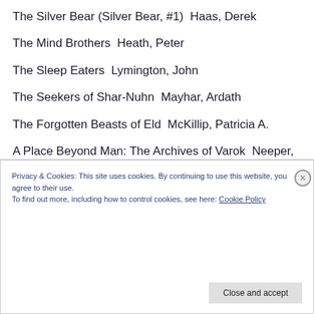The Silver Bear (Silver Bear, #1)  Haas, Derek
The Mind Brothers  Heath, Peter
The Sleep Eaters  Lymington, John
The Seekers of Shar-Nuhn  Mayhar, Ardath
The Forgotten Beasts of Eld  McKillip, Patricia A.
A Place Beyond Man: The Archives of Varok  Neeper, Cary
Virtual Zen  Nelson, Ray Faraday
Privacy & Cookies: This site uses cookies. By continuing to use this website, you agree to their use. To find out more, including how to control cookies, see here: Cookie Policy